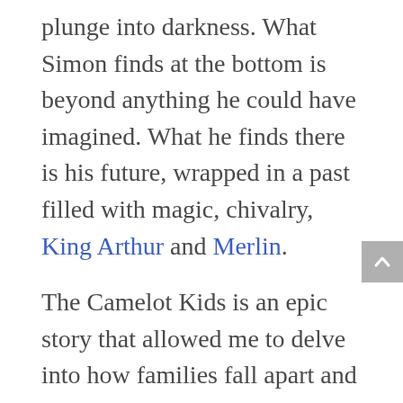plunge into darkness. What Simon finds at the bottom is beyond anything he could have imagined. What he finds there is his future, wrapped in a past filled with magic, chivalry, King Arthur and Merlin.
The Camelot Kids is an epic story that allowed me to delve into how families fall apart and why so much of our strength and our goodness comes from our connection with others. By the end of writing the first book I knew I'd have the guts to push it out into the real world. I enjoyed the entire process